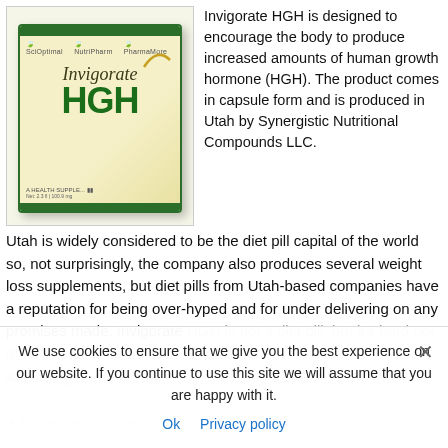[Figure (photo): Product box of Invigorate HGH supplement, cream/yellow colored box with green stripes and bold green HGH lettering]
Invigorate HGH is designed to encourage the body to produce increased amounts of human growth hormone (HGH). The product comes in capsule form and is produced in Utah by Synergistic Nutritional Compounds LLC.
Utah is widely considered to be the diet pill capital of the world so, not surprisingly, the company also produces several weight loss supplements, but diet pills from Utah-based companies have a reputation for being over-hyped and for under delivering on any promises made. Invigorate HGH is not a diet pill, but it's hard not to take a guilty by association attitude.
According to the official website, HGH provides three main benefits:
Enhanced muscle mass
We use cookies to ensure that we give you the best experience on our website. If you continue to use this site we will assume that you are happy with it.